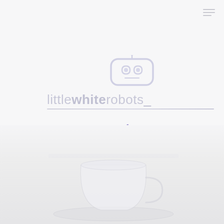[Figure (logo): Little White Robots logo with robot face icon above text reading 'little white robots_' with a decorative underline. A purple loading spinner is shown below the logo.]
[Figure (photo): Faded, washed-out photo of a white coffee cup and saucer on a white surface, occupying the bottom portion of the page.]